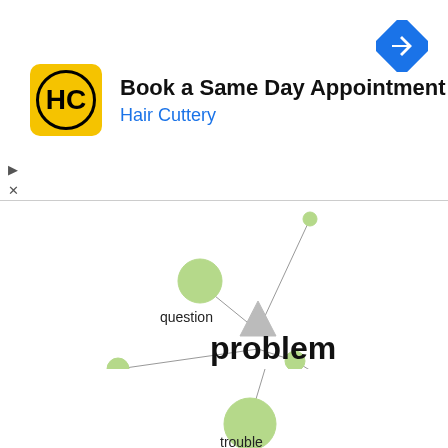[Figure (screenshot): Advertisement banner for Hair Cuttery: 'Book a Same Day Appointment' with yellow HC logo and blue navigation icon]
[Figure (network-graph): Network/word graph centered on the word 'problem' (shown as a gray triangle), with connected nodes: 'question' (upper left, large green circle), unlabeled small node (upper right area), unlabeled small node (left), small node (right of center), 'head' (lower right, large green circle), small node (below center), and 'trouble' (bottom center, large green circle). Nodes connected by thin gray lines.]